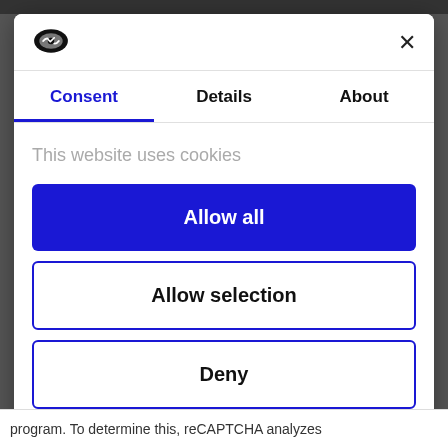[Figure (logo): Cookiebot/Usercentrics shield logo in black]
×
Consent
Details
About
This website uses cookies
Allow all
Allow selection
Deny
Powered by Cookiebot by Usercentrics
program. To determine this, reCAPTCHA analyzes